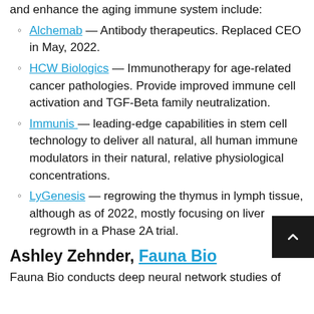and enhance the aging immune system include:
Alchemab — Antibody therapeutics. Replaced CEO in May, 2022.
HCW Biologics — Immunotherapy for age-related cancer pathologies. Provide improved immune cell activation and TGF-Beta family neutralization.
Immunis — leading-edge capabilities in stem cell technology to deliver all natural, all human immune modulators in their natural, relative physiological concentrations.
LyGenesis — regrowing the thymus in lymph tissue, although as of 2022, mostly focusing on liver regrowth in a Phase 2A trial.
Ashley Zehnder, Fauna Bio
Fauna Bio conducts deep neural network studies of